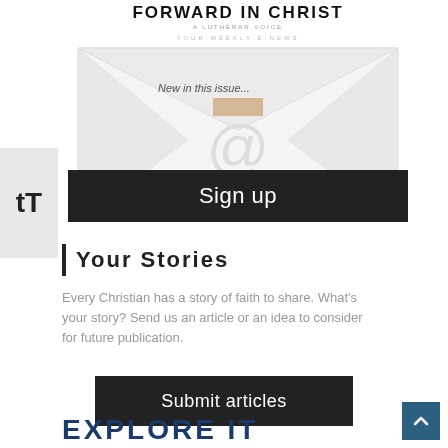[Figure (illustration): Newsletter envelope graphic with 'Forward in Christ – A Lutheran Voice – Your Weekly E-News' header, showing an open envelope with 'New in this issue...' text and an @ symbol, and a black 'Sign up' button at the bottom]
Your Stories
Every Christian has a story of faith to share. What's your story? Send us an article or an idea to consider for future publication.
[Figure (illustration): Black button with white text reading 'Submit articles']
EXPLORE IT